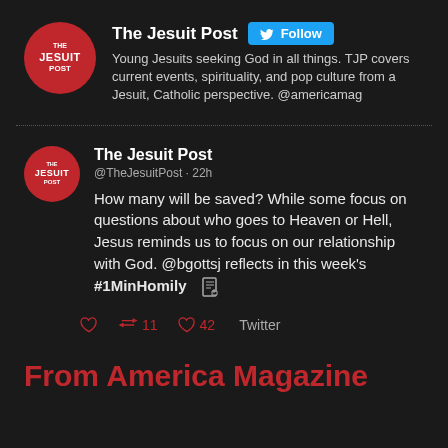[Figure (logo): The Jesuit Post circular red logo with white text]
The Jesuit Post
[Figure (other): Twitter Follow button in blue]
Young Jesuits seeking God in all things. TJP covers current events, spirituality, and pop culture from a Jesuit, Catholic perspective. @americamag
[Figure (logo): The Jesuit Post circular red logo with white text (tweet section)]
The Jesuit Post
@TheJesuitPost · 22h
How many will be saved? While some focus on questions about who goes to Heaven or Hell, Jesus reminds us to focus on our relationship with God. @bgottsj reflects in this week's #1MinHomily
11   42   Twitter
From America Magazine